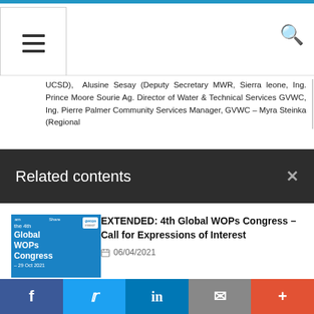Navigation header with hamburger menu and search icon
UCSD), Alusine Sesay (Deputy Secretary MWR, Sierra leone, Ing. Prince Moore Sourie Ag. Director of Water & Technical Services GVWC, Ing. Pierre Palmer Community Services Manager, GVWC – Myra Steinka (Regional
Related contents
[Figure (photo): Thumbnail image for 4th Global WOPs Congress with blue background showing event branding, sharing messaging (Learn, Share, Inspire) and GWOPA logo]
EXTENDED: 4th Global WOPs Congress – Call for Expressions of Interest
06/04/2021
[Figure (photo): Thumbnail image for WOPcast podcast series with blue background showing WOPcast logo and GWOPA branding]
UN-Habitat's GWOPA launches the podcast series WOPcast
10/11/2021
Social sharing bar: Facebook, Twitter, LinkedIn, Email, More